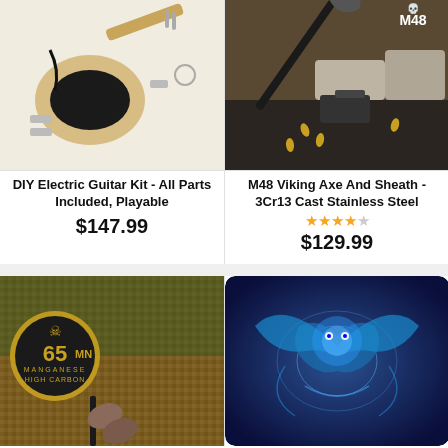[Figure (photo): DIY Electric Guitar Kit parts laid out including guitar body, neck, pickups, hardware on white background]
DIY Electric Guitar Kit - All Parts Included, Playable
$147.99
[Figure (photo): M48 Viking Axe and sheath with tactical gear, gun, bullets on dark background]
M48 Viking Axe And Sheath - 3Cr13 Cast Stainless Steel
$129.99
[Figure (photo): 65MN Manganese High Carbon sword/combat weapon with person holding it outdoors]
[Figure (illustration): Blue glowing dragon fantasy artwork on dark blue background]